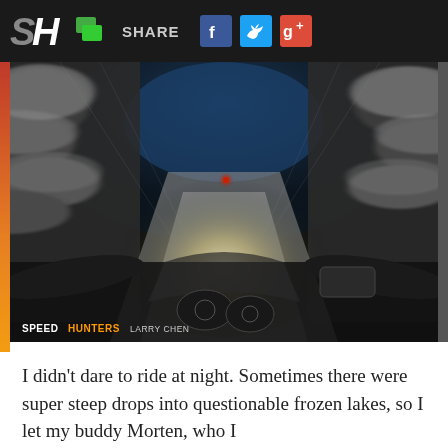SH | SHARE
[Figure (photo): First-person perspective view from a motorcycle riding at night through a snow-covered road with trees on either side, motion blur effect, headlight illuminating the road ahead, a red taillight visible in the distance. Speedometer visible on handlebars. SPEEDHUNTERS LARRY CHEN watermark in bottom left.]
I didn't dare to ride at night. Sometimes there were super steep drops into questionable frozen lakes, so I let my buddy Morten, who I